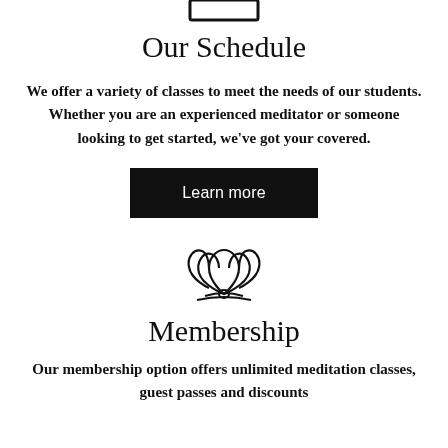[Figure (illustration): Partial rectangle/calendar icon at top of page, cropped at top edge]
Our Schedule
We offer a variety of classes to meet the needs of our students. Whether you are an experienced meditator or someone looking to get started, we've got your covered.
[Figure (illustration): Black rectangular button with white text 'Learn more']
[Figure (illustration): Lotus flower outline icon]
Membership
Our membership option offers unlimited meditation classes, guest passes and discounts for large discounts and larger, they cover of